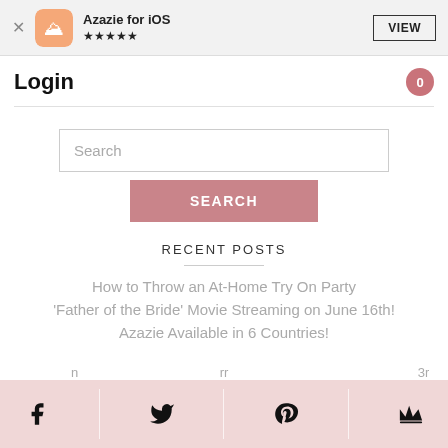Azazie for iOS ★★★★★  VIEW
Login
[Figure (screenshot): Search input box with placeholder text 'Search' and a pink SEARCH button]
RECENT POSTS
How to Throw an At-Home Try On Party
'Father of the Bride' Movie Streaming on June 16th!
Azazie Available in 6 Countries!
Social share bar: Facebook, Twitter, Pinterest, Crown icon